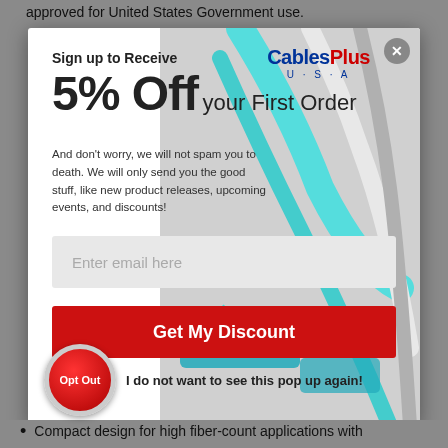approved for United States Government use.
[Figure (screenshot): CablesPlus USA popup modal offering 5% Off your First Order with email signup, Get My Discount button, and Opt Out button. Background shows fiber optic cables image.]
Compact design for high fiber-count applications with